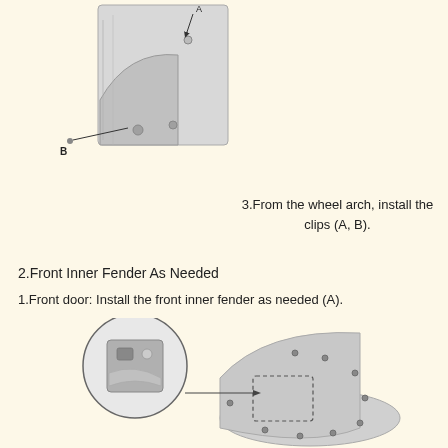[Figure (engineering-diagram): Technical diagram showing a car fender/inner panel from the side, with arrows pointing to labeled clip positions A (top) and B (bottom left).]
3.From the wheel arch, install the clips (A, B).
2.Front Inner Fender As Needed
1.Front door: Install the front inner fender as needed (A).
[Figure (engineering-diagram): Technical diagram showing the front inner fender installation area with a magnified circular inset showing detail of clip position A, and main image showing the wheel arch area with fastener locations.]